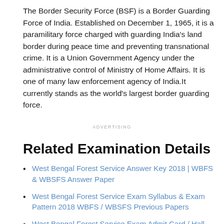The Border Security Force (BSF) is a Border Guarding Force of India. Established on December 1, 1965, it is a paramilitary force charged with guarding India's land border during peace time and preventing transnational crime. It is a Union Government Agency under the administrative control of Ministry of Home Affairs. It is one of many law enforcement agency of India.It currently stands as the world's largest border guarding force.
ADVERTISING
Related Examination Details
West Bengal Forest Service Answer Key 2018 | WBFS & WBSFS Answer Paper
West Bengal Forest Service Exam Syllabus & Exam Pattern 2018 WBFS / WBSFS Previous Papers
West Bengal Forest Service Exam Admit Card / Hall Ticket 2018 WBFS & WBSFS Exam Date